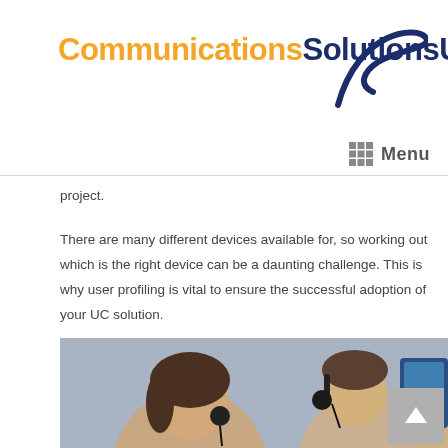CommunicationsSolutionsUK
Menu
project.
There are many different devices available for, so working out which is the right device can be a daunting challenge. This is why user profiling is vital to ensure the successful adoption of your UC solution.
[Figure (photo): Call center workers wearing headsets, three people visible in foreground]